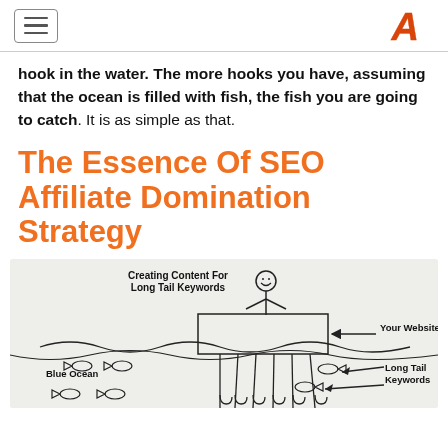[hamburger menu] [logo A]
hook in the water. The more hooks you have, assuming that the ocean is filled with fish, the fish you are going to catch. It is as simple as that.
The Essence Of SEO Affiliate Domination Strategy
[Figure (illustration): Hand-drawn diagram showing a stick figure person holding multiple fishing lines/hooks dropping into an ocean (Blue Ocean). A rectangle labeled 'Your Website' sits above the water. Fish swim near hooks labeled 'Long Tail Keywords'. Caption reads 'Creating Content For Long Tail Keywords'.]